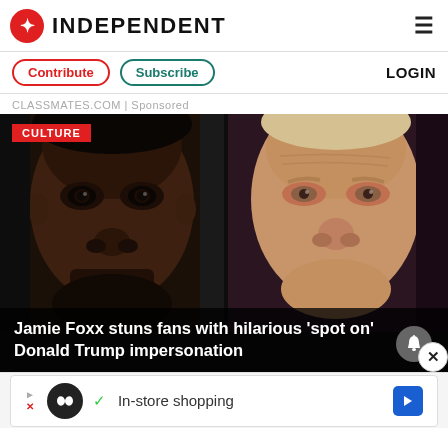INDEPENDENT
Contribute  Subscribe  LOGIN
CLASSMATES.COM | Sponsored
[Figure (photo): Split photo: left side shows Jamie Foxx's face close-up, right side shows Donald Trump's face close-up, dark dramatic lighting]
Jamie Foxx stuns fans with hilarious ‘spot on’ Donald Trump impersonation
[Figure (infographic): Advertisement bar: logo circle with infinity symbol, checkmark, text 'In-store shopping', blue arrow navigation icon]